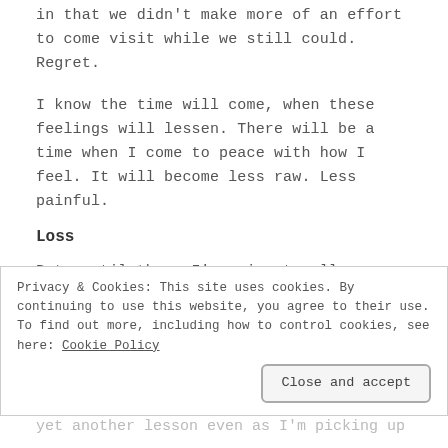in that we didn't make more of an effort to come visit while we still could. Regret.
I know the time will come, when these feelings will lessen. There will be a time when I come to peace with how I feel. It will become less raw. Less painful.
Loss
But, until then, I'm going to allow myself to feel this loss. It's part of healing.
Privacy & Cookies: This site uses cookies. By continuing to use this website, you agree to their use. To find out more, including how to control cookies, see here: Cookie Policy
Close and accept
yet another lesson even as I'm picking up